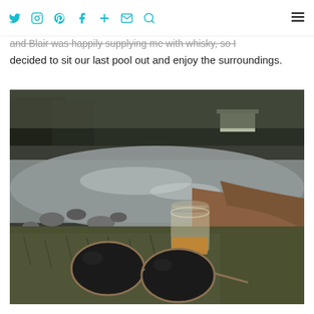Social icons: Twitter, Instagram, Pinterest, Facebook, Plus, Email, Search; Hamburger menu
and Blair was happily supplying me with whisky, so I decided to sit our last pool out and enjoy the surroundings.
[Figure (photo): Photo of a whisky glass and sunglasses resting on grass beside a rocky riverbank, with trees and a building visible in the background.]